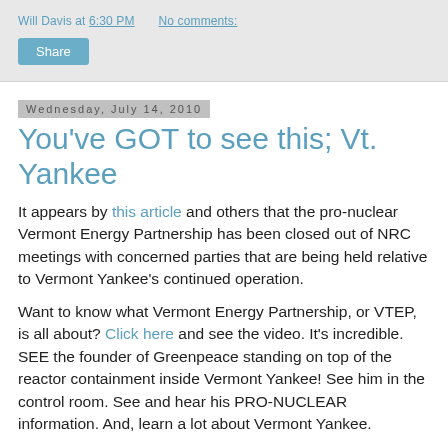Will Davis at 6:30 PM    No comments:
Share
Wednesday, July 14, 2010
You've GOT to see this; Vt. Yankee
It appears by this article and others that the pro-nuclear Vermont Energy Partnership has been closed out of NRC meetings with concerned parties that are being held relative to Vermont Yankee's continued operation.
Want to know what Vermont Energy Partnership, or VTEP, is all about? Click here and see the video. It's incredible. SEE the founder of Greenpeace standing on top of the reactor containment inside Vermont Yankee! See him in the control room. See and hear his PRO-NUCLEAR information. And, learn a lot about Vermont Yankee.
"This is the nuclear renaissance." I .. and we .. have been